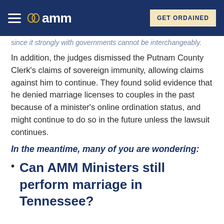AMM — GET ORDAINED
since it strongly with governments cannot be interchangeably.
In addition, the judges dismissed the Putnam County Clerk's claims of sovereign immunity, allowing claims against him to continue. They found solid evidence that he denied marriage licenses to couples in the past because of a minister's online ordination status, and might continue to do so in the future unless the lawsuit continues.
In the meantime, many of you are wondering:
Can AMM Ministers still perform marriage in Tennessee?